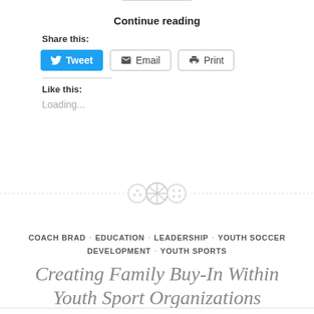Continue reading
Share this:
[Figure (other): Social share buttons: Tweet (blue Twitter button), Email (outline button with envelope icon), Print (outline button with printer icon)]
Like this:
Loading...
[Figure (other): Decorative dotted divider with three circular button icons in the center]
COACH BRAD · EDUCATION · LEADERSHIP · YOUTH SOCCER DEVELOPMENT · YOUTH SPORTS
Creating Family Buy-In Within Youth Sport Organizations